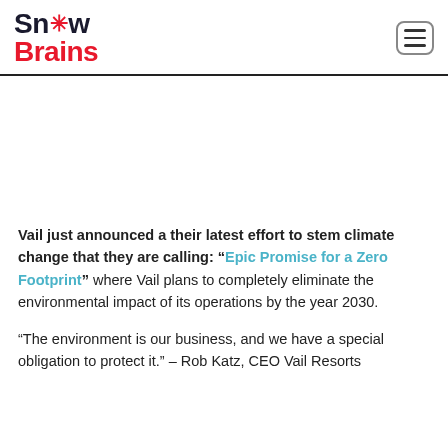Snow Brains
Vail just announced a their latest effort to stem climate change that they are calling: “Epic Promise for a Zero Footprint” where Vail plans to completely eliminate the environmental impact of its operations by the year 2030.
“The environment is our business, and we have a special obligation to protect it.” – Rob Katz, CEO Vail Resorts